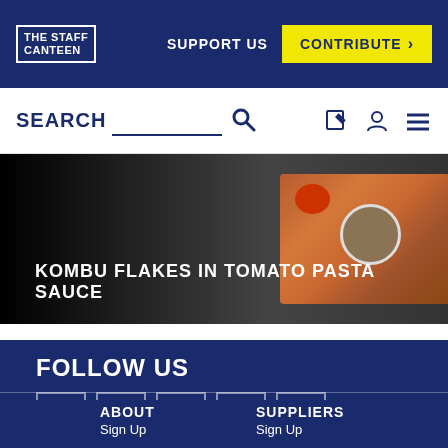THE STAFF CANTEEN | SUPPORT US | CONTRIBUTE >
SEARCH
[Figure (photo): Food photo showing tomatoes and a bowl of spices/kombu flakes on a wooden surface with dark background. Overlay text: KOMBU FLAKES IN TOMATO PASTA SAUCE]
FOLLOW US
[Figure (infographic): Social media icons row: Facebook, Instagram, Twitter, Pinterest, YouTube]
ABOUT
Sign Up
SUPPLIERS
Sign Up